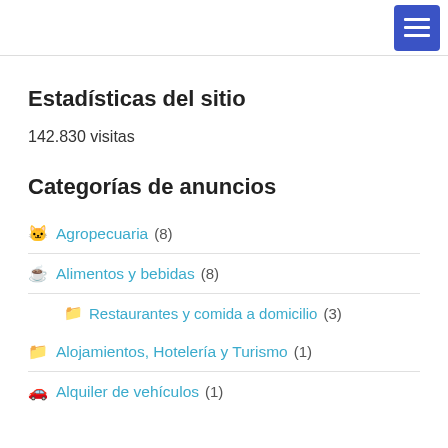Estadísticas del sitio
142.830 visitas
Categorías de anuncios
🐱 Agropecuaria (8)
☕ Alimentos y bebidas (8)
📁 Restaurantes y comida a domicilio (3)
📁 Alojamientos, Hotelería y Turismo (1)
🚗 Alquiler de vehículos (1)